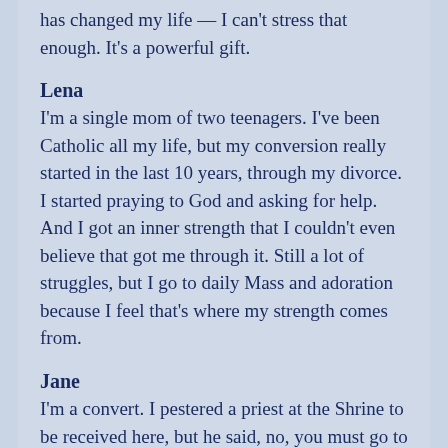has changed my life — I can't stress that enough. It's a powerful gift.
Lena
I'm a single mom of two teenagers. I've been Catholic all my life, but my conversion really started in the last 10 years, through my divorce. I started praying to God and asking for help. And I got an inner strength that I couldn't even believe that got me through it. Still a lot of struggles, but I go to daily Mass and adoration because I feel that's where my strength comes from.
Jane
I'm a convert. I pestered a priest at the Shrine to be received here, but he said, no, you must go to a parish! So I went through